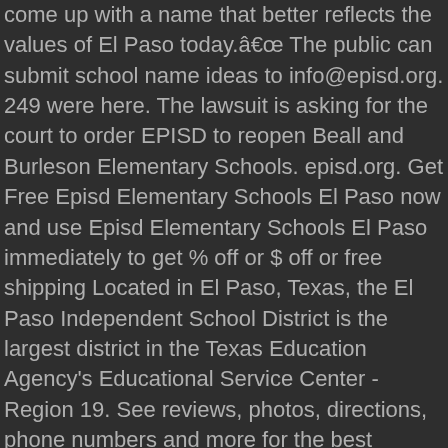come up with a name that better reflects the values of El Paso today.” The public can submit school name ideas to info@episd.org. 249 were here. The lawsuit is asking for the court to order EPISD to reopen Beall and Burleson Elementary Schools. episd.org. Get Free Episd Elementary Schools El Paso now and use Episd Elementary Schools El Paso immediately to get % off or $ off or free shipping Located in El Paso, Texas, the El Paso Independent School District is the largest district in the Texas Education Agency's Educational Service Center - Region 19. See reviews, photos, directions, phone numbers and more for the best Elementary Schools in El Paso, TX. On Friday, EPISD Superintendent Juan E. Cabrera announced the appointment of principals at two district elementary schools. We are excited to offer an easy, online method to reserve a facility at one of our schools. The El Paso Independent School District (or EPISD) is the largest school districts serving El Paso, Texas ().Originally organized in 1883, it is currently the largest district in the Texas Education Agency's Educational Service Center (ESC) Region 19, as